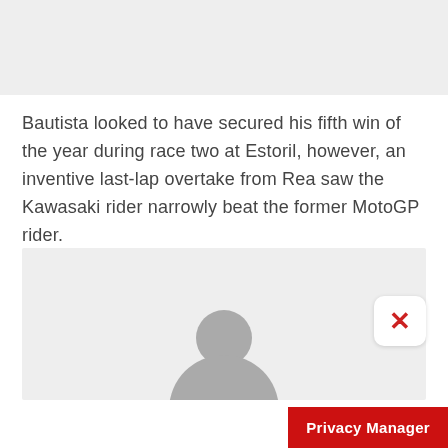[Figure (other): Gray top bar placeholder / header image area]
Bautista looked to have secured his fifth win of the year during race two at Estoril, however, an inventive last-lap overtake from Rea saw the Kawasaki rider narrowly beat the former MotoGP rider.
[Figure (photo): Partially visible photo/image with gray background and person silhouette, with a white close (X) button overlay in red]
Privacy Manager